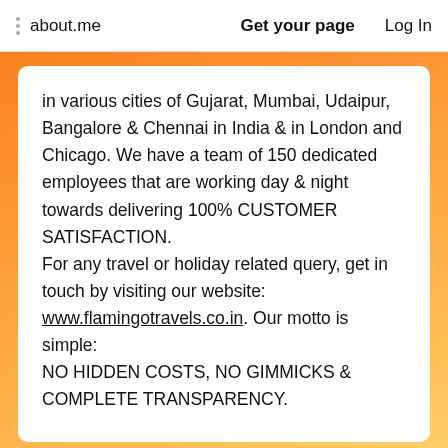about.me   Get your page   Log In
in various cities of Gujarat, Mumbai, Udaipur, Bangalore & Chennai in India & in London and Chicago. We have a team of 150 dedicated employees that are working day & night towards delivering 100% CUSTOMER SATISFACTION.
For any travel or holiday related query, get in touch by visiting our website: www.flamingotravels.co.in. Our motto is simple:
NO HIDDEN COSTS, NO GIMMICKS & COMPLETE TRANSPARENCY.